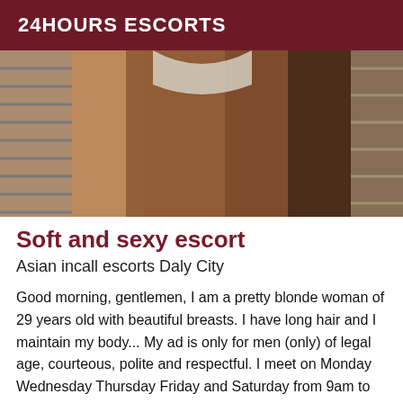24HOURS ESCORTS
[Figure (photo): Cropped photo of a person in white bikini bottoms against a gray slatted background]
Soft and sexy escort
Asian incall escorts Daly City
Good morning, gentlemen, I am a pretty blonde woman of 29 years old with beautiful breasts. I have long hair and I maintain my body... My ad is only for men (only) of legal age, courteous, polite and respectful. I meet on Monday Wednesday Thursday Friday and Saturday from 9am to 8pm. Attention, I never meet on Sundays: 1h min: 300 roses I can also travel (home or hotel) in the whole region:(not less than 1 hour and under conditions) First contact by a male before calling